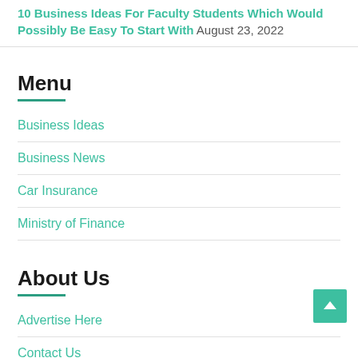10 Business Ideas For Faculty Students Which Would Possibly Be Easy To Start With August 23, 2022
Menu
Business Ideas
Business News
Car Insurance
Ministry of Finance
About Us
Advertise Here
Contact Us